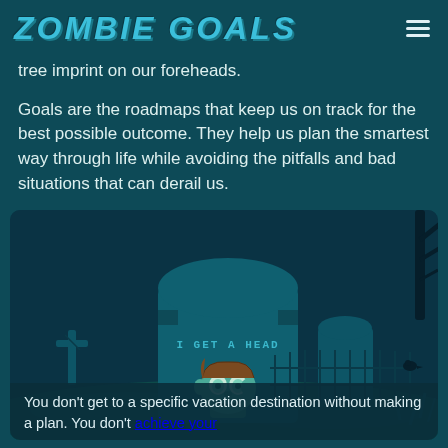ZOMBIE GOALS
tree imprint on our foreheads.
Goals are the roadmaps that keep us on track for the best possible outcome. They help us plan the smartest way through life while avoiding the pitfalls and bad situations that can derail us.
[Figure (illustration): A cartoon illustration of a graveyard at night. A large tombstone in the center reads 'I GET A HEAD' with a zombie head emerging from the ground in front of it. Additional tombstones and a fence with a bird are visible in the background.]
You don't get to a specific vacation destination without making a plan. You don't achieve your